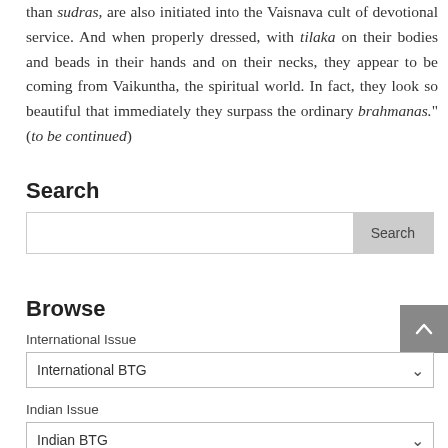than sudras, are also initiated into the Vaisnava cult of devotional service. And when properly dressed, with tilaka on their bodies and beads in their hands and on their necks, they appear to be coming from Vaikuntha, the spiritual world. In fact, they look so beautiful that immediately they surpass the ordinary brahmanas." (to be continued)
Search
Browse
International Issue
International BTG
Indian Issue
Indian BTG